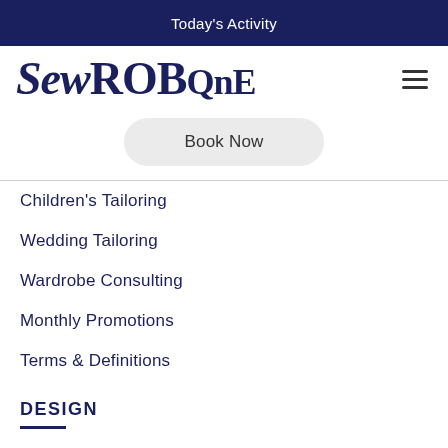Today's Activity
[Figure (logo): SewROBQnE logo in dark navy serif font with italic 'Sew' and bold 'ROBQnE' lettering]
Book Now
Children's Tailoring
Wedding Tailoring
Wardrobe Consulting
Monthly Promotions
Terms & Definitions
DESIGN